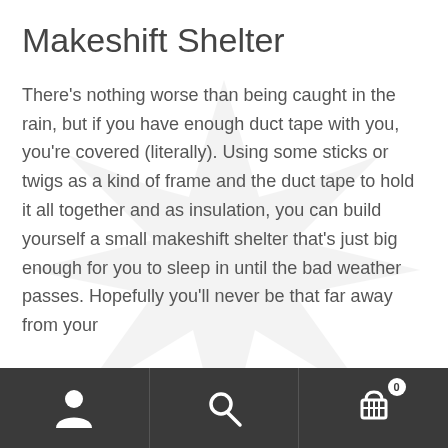Makeshift Shelter
There's nothing worse than being caught in the rain, but if you have enough duct tape with you, you're covered (literally). Using some sticks or twigs as a kind of frame and the duct tape to hold it all together and as insulation, you can build yourself a small makeshift shelter that's just big enough for you to sleep in until the bad weather passes. Hopefully you'll never be that far away from your
By using this site you accept our robot overlords are watching you. :) Many water products are out of stock. We are waiting for parts.
Dismiss